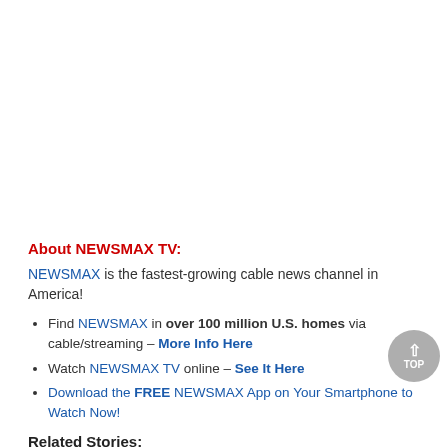About NEWSMAX TV:
NEWSMAX is the fastest-growing cable news channel in America!
Find NEWSMAX in over 100 million U.S. homes via cable/streaming – More Info Here
Watch NEWSMAX TV online – See It Here
Download the FREE NEWSMAX App on Your Smartphone to Watch Now!
Related Stories: